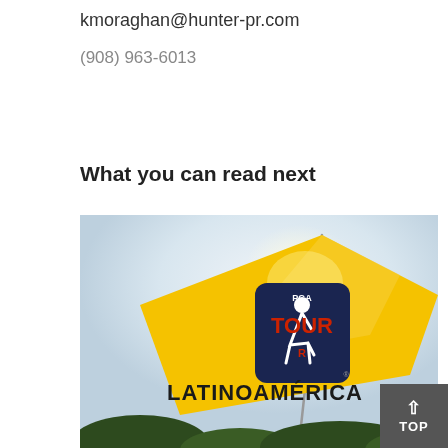kmoraghan@hunter-pr.com
(908) 963-6013
What you can read next
[Figure (photo): Yellow PGA Tour Latinoamérica golf flag on a flagpole against a light sky background, with trees visible at the bottom.]